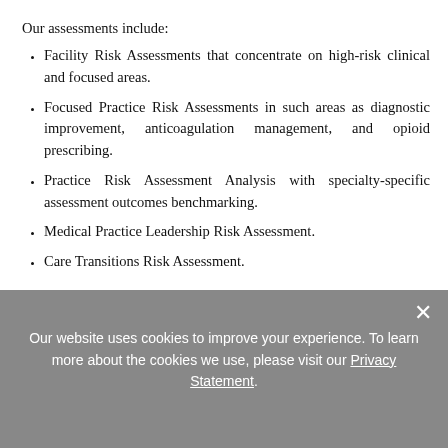Our assessments include:
Facility Risk Assessments that concentrate on high-risk clinical and focused areas.
Focused Practice Risk Assessments in such areas as diagnostic improvement, anticoagulation management, and opioid prescribing.
Practice Risk Assessment Analysis with specialty-specific assessment outcomes benchmarking.
Medical Practice Leadership Risk Assessment.
Care Transitions Risk Assessment.
Emotional Support Services
Our website uses cookies to improve your experience. To learn more about the cookies we use, please visit our Privacy Statement.